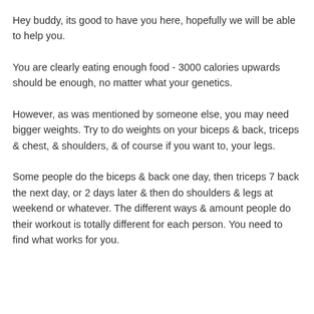Hey buddy, its good to have you here, hopefully we will be able to help you.
You are clearly eating enough food - 3000 calories upwards should be enough, no matter what your genetics.
However, as was mentioned by someone else, you may need bigger weights. Try to do weights on your biceps & back, triceps & chest, & shoulders, & of course if you want to, your legs.
Some people do the biceps & back one day, then triceps 7 back the next day, or 2 days later & then do shoulders & legs at weekend or whatever. The different ways & amount people do their workout is totally different for each person. You need to find what works for you.